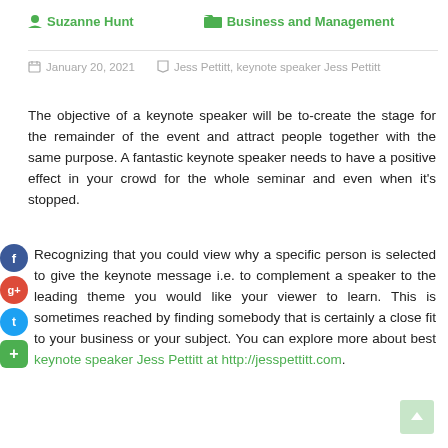Suzanne Hunt   Business and Management
January 20, 2021   Jess Pettitt, keynote speaker Jess Pettitt
The objective of a keynote speaker will be to-create the stage for the remainder of the event and attract people together with the same purpose. A fantastic keynote speaker needs to have a positive effect in your crowd for the whole seminar and even when it's stopped.
Recognizing that you could view why a specific person is selected to give the keynote message i.e. to complement a speaker to the leading theme you would like your viewer to learn. This is sometimes reached by finding somebody that is certainly a close fit to your business or your subject. You can explore more about best keynote speaker Jess Pettitt at http://jesspettitt.com.